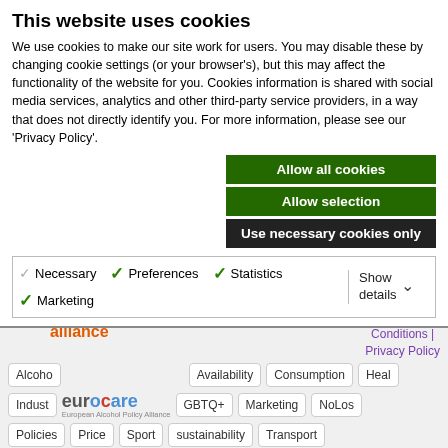This website uses cookies
We use cookies to make our site work for users. You may disable these by changing cookie settings (or your browser's), but this may affect the functionality of the website for you. Cookies information is shared with social media services, analytics and other third-party service providers, in a way that does not directly identify you. For more information, please see our 'Privacy Policy'.
Allow all cookies
Allow selection
Use necessary cookies only
Necessary  Preferences  Statistics  Marketing  Show details
Tags  alcohol &families alliance  jroberts@ias.org.uk  Terms and Conditions | Privacy Policy  Alcoho  Availability  Consumption  Heal  Indust  GBTQ+  Marketing  NoLos  Policies  Price  Sport  sustainability  Transport  Underage  Violence and crime